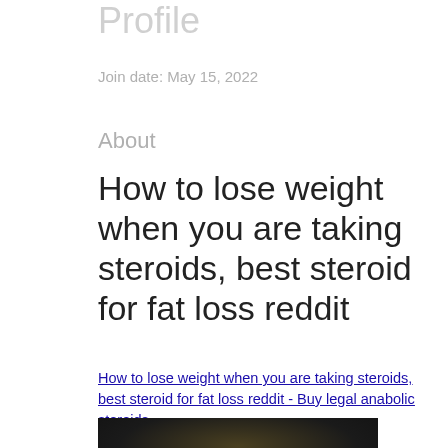Profile
Join date: May 15, 2022
About
How to lose weight when you are taking steroids, best steroid for fat loss reddit
How to lose weight when you are taking steroids, best steroid for fat loss reddit - Buy legal anabolic steroids
[Figure (photo): Dark blurred image, possibly a product or supplement photo]